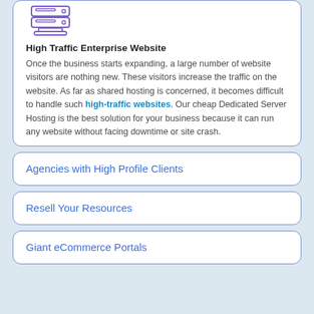[Figure (illustration): Server/computer stack icon in purple outline style]
High Traffic Enterprise Website
Once the business starts expanding, a large number of website visitors are nothing new. These visitors increase the traffic on the website. As far as shared hosting is concerned, it becomes difficult to handle such high-traffic websites. Our cheap Dedicated Server Hosting is the best solution for your business because it can run any website without facing downtime or site crash.
Agencies with High Profile Clients
Resell Your Resources
Giant eCommerce Portals